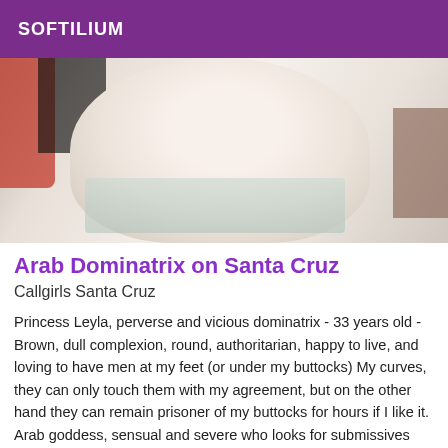SOFTILIUM
[Figure (photo): Close-up photo showing a person's body from behind, partially clothed, lying on a light-colored surface with red and dark fabric visible on the left side.]
Arab Dominatrix on Santa Cruz
Callgirls Santa Cruz
Princess Leyla, perverse and vicious dominatrix - 33 years old - Brown, dull complexion, round, authoritarian, happy to live, and loving to have men at my feet (or under my buttocks) My curves, they can only touch them with my agreement, but on the other hand they can remain prisoner of my buttocks for hours if I like it. Arab goddess, sensual and severe who looks for submissives